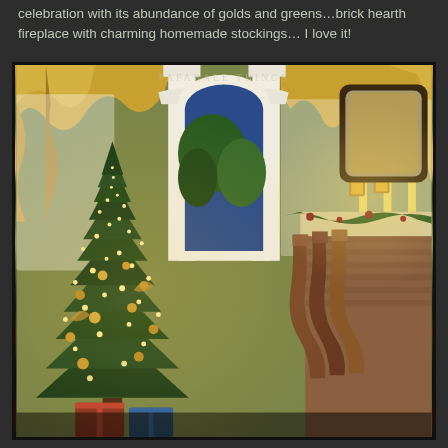celebration with its abundance of golds and greens…brick hearth fireplace with charming homemade stockings… I love it!
[Figure (photo): Interior Christmas scene showing a decorated Christmas tree with lights and ornaments on the left, white columns and an arched doorway/window in the center background, a brick fireplace mantel with garland and candles on the right, stockings hanging from the fireplace, and gold curtain draping visible. A mirror with ornate dark frame is visible on the right wall. The room has green walls and warm golden lighting.]